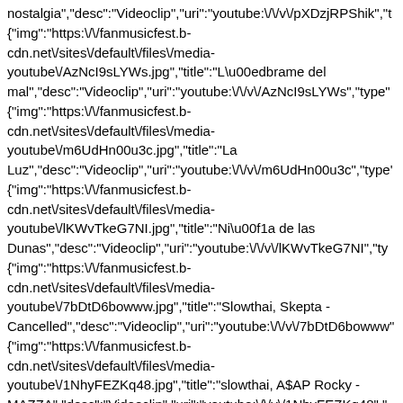nostalgia","desc":"Videoclip","uri":"youtube:\/\/v\/pXDzjRPShik","t {"img":"https:\/\/fanmusicfest.b-cdn.net\/sites\/default\/files\/media-youtube\/AzNcI9sLYWs.jpg","title":"L\u00edbrame del mal","desc":"Videoclip","uri":"youtube:\/\/v\/AzNcI9sLYWs","type" {"img":"https:\/\/fanmusicfest.b-cdn.net\/sites\/default\/files\/media-youtube\/m6UdHn00u3c.jpg","title":"La Luz","desc":"Videoclip","uri":"youtube:\/\/v\/m6UdHn00u3c","type' {"img":"https:\/\/fanmusicfest.b-cdn.net\/sites\/default\/files\/media-youtube\/lKWvTkeG7NI.jpg","title":"Ni\u00f1a de las Dunas","desc":"Videoclip","uri":"youtube:\/\/v\/lKWvTkeG7NI","ty {"img":"https:\/\/fanmusicfest.b-cdn.net\/sites\/default\/files\/media-youtube\/7bDtD6bowww.jpg","title":"Slowthai, Skepta - Cancelled","desc":"Videoclip","uri":"youtube:\/\/v\/7bDtD6bowww" {"img":"https:\/\/fanmusicfest.b-cdn.net\/sites\/default\/files\/media-youtube\/1NhyFEZKq48.jpg","title":"slowthai, A$AP Rocky - MAZZA","desc":"Videoclip","uri":"youtube:\/\/v\/1NhyFEZKq48"," {"img":"https:\/\/fanmusicfest.b-cdn.net\/sites\/default\/files\/media-youtube\/BOV5jEa-vwc.jpg","title":"Tenere Taqhim Tossam","desc":"Videoclip","uri":"youtube:\/\/v\/BOV5jEa-